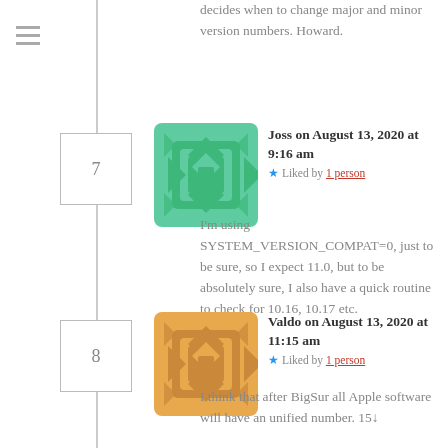decides when to change major and minor version numbers. Howard.
Joss on August 13, 2020 at 9:16 am
★ Liked by 1 person
I'm using SYSTEM_VERSION_COMPAT=0, just to be sure, so I expect 11.0, but to be absolutely sure, I also have a quick routine to check for 10.16, 10.17 etc.
Valdo on August 13, 2020 at 11:15 am
★ Liked by 1 person
I think that after BigSur all Apple software will have an unified number. 15↓